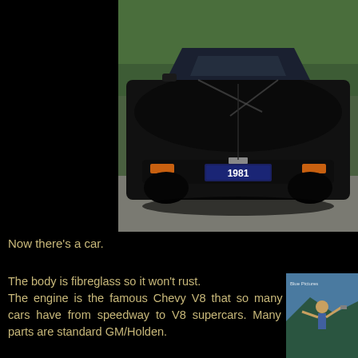[Figure (photo): Front view of a black 1981 Corvette sports car with license plate reading '1981', parked outdoors with trees in background]
Now there's a car.
The body is fibreglass so it won't rust. The engine is the famous Chevy V8 that so many racing cars have from speedway to V8 supercars. Many of the parts are standard GM/Holden.
[Figure (photo): Small photo of a person outdoors near a car, scenic background with water or mountains]